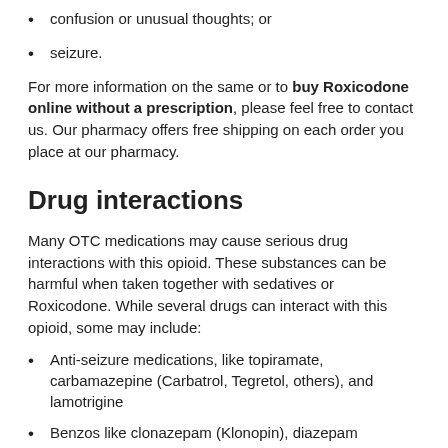confusion or unusual thoughts; or
seizure.
For more information on the same or to buy Roxicodone online without a prescription, please feel free to contact us. Our pharmacy offers free shipping on each order you place at our pharmacy.
Drug interactions
Many OTC medications may cause serious drug interactions with this opioid. These substances can be harmful when taken together with sedatives or Roxicodone. While several drugs can interact with this opioid, some may include:
Anti-seizure medications, like topiramate, carbamazepine (Carbatrol, Tegretol, others), and lamotrigine
Benzos like clonazepam (Klonopin), diazepam (Valium), alprazolam (Xanax), and lorazepam
Antibiotics like clarithromycin
Certain antifungals, including an ketoconazole, itraconazole (Onmel, Tolsura), and voriconazole, voriconazole